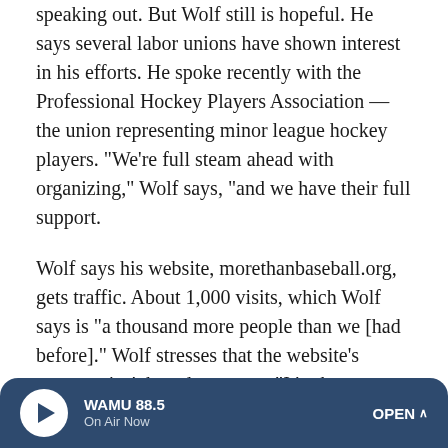speaking out. But Wolf still is hopeful. He says several labor unions have shown interest in his efforts. He spoke recently with the Professional Hockey Players Association — the union representing minor league hockey players. "We're full steam ahead with organizing," Wolf says, "and we have their full support.
Wolf says his website, morethanbaseball.org, gets traffic. About 1,000 visits, which Wolf says is "a thousand more people than we [had before]." Wolf stresses that the website's message isn't based on anger. "It's about speaking out to make things better," he says. He and the others involved in the effort are trying to speak out whenever they can.
Hoping, perhaps, to start a movement.
[Figure (other): WAMU 88.5 radio player bar at the bottom of the page with play button, station name, On Air Now status, and OPEN button]